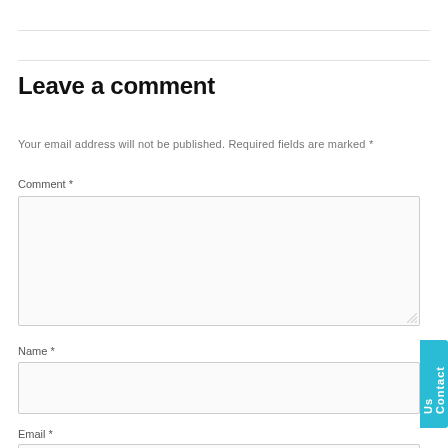Leave a comment
Your email address will not be published. Required fields are marked *
Comment *
Name *
Email *